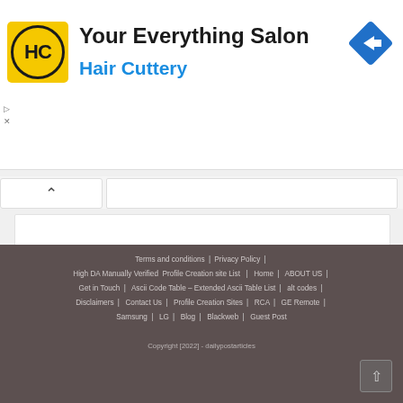[Figure (logo): Hair Cuttery ad banner with HC logo in yellow circle, heading 'Your Everything Salon', subheading 'Hair Cuttery' in blue, and a blue navigation arrow icon on the right]
[Figure (other): Collapsed ad panel with upward chevron arrow and a content area tab]
Terms and conditions | Privacy Policy | High DA Manually Verified Profile Creation site List | Home | ABOUT US | Get in Touch | Ascii Code Table – Extended Ascii Table List | alt codes | Disclaimers | Contact Us | Profile Creation Sites | RCA | GE Remote | Samsung | LG | Blog | Blackweb | Guest Post
Copyright [2022] - dailypostarticles